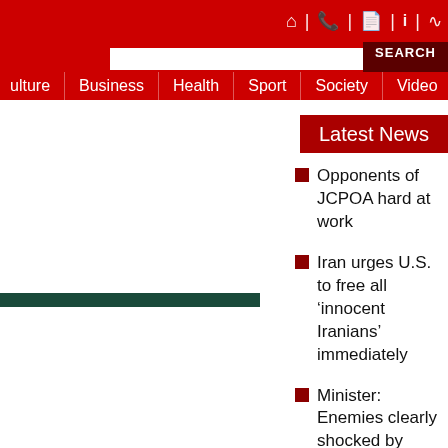Navigation header with icons and search bar
Latest News
Opponents of JCPOA hard at work
Iran urges U.S. to free all ‘innocent Iranians’ immediately
Minister: Enemies clearly shocked by Iran’s industrial, defense advances
Iran slams U.S. as ‘record-holder’ in wars, coups
Iran speaker urges West to adhere to JCPOA, stop bullying